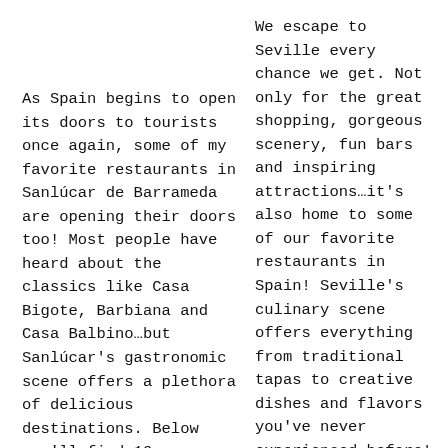As Spain begins to open its doors to tourists once again, some of my favorite restaurants in Sanlúcar de Barrameda are opening their doors too! Most people have heard about the classics like Casa Bigote, Barbiana and Casa Balbino…but Sanlúcar's gastronomic scene offers a plethora of delicious destinations. Below you'll find 10 restaurants (in no particular…
We escape to Seville every chance we get. Not only for the great shopping, gorgeous scenery, fun bars and inspiring attractions…it's also home to some of our favorite restaurants in Spain! Seville's culinary scene offers everything from traditional tapas to creative dishes and flavors you've never experienced before! In this post I'll cover some of the city's most popular restaurants—the ones our local friends said we had